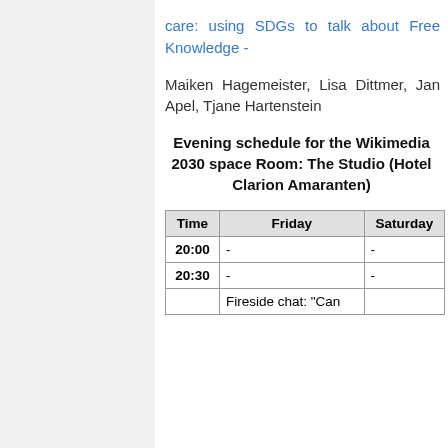care: using SDGs to talk about Free Knowledge - Maiken Hagemeister, Lisa Dittmer, Jan Apel, Tjane Hartenstein
Evening schedule for the Wikimedia 2030 space Room: The Studio (Hotel Clarion Amaranten)
| Time | Friday | Saturday |
| --- | --- | --- |
| 20:00 | - | - |
| 20:30 | - | - |
|  | Fireside chat: "Can |  |